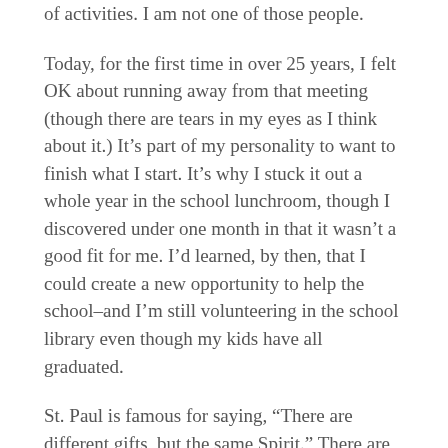of activities. I am not one of those people.
Today, for the first time in over 25 years, I felt OK about running away from that meeting (though there are tears in my eyes as I think about it.) It’s part of my personality to want to finish what I start. It’s why I stuck it out a whole year in the school lunchroom, though I discovered under one month in that it wasn’t a good fit for me. I’d learned, by then, that I could create a new opportunity to help the school–and I’m still volunteering in the school library even though my kids have all graduated.
St. Paul is famous for saying, “There are different gifts, but the same Spirit.” There are different personalities, too–but the same Spirit. What works for one does not work for everyone. (It’s why I don’t podcast or do Facebook Live. It’s why I’ll probably bury myself in